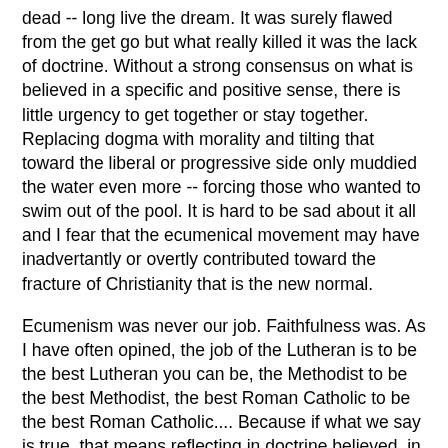dead -- long live the dream.  It was surely flawed from the get go but what really killed it was the lack of doctrine.  Without a strong consensus on what is believed in a specific and positive sense, there is little urgency to get together or stay together.  Replacing dogma with morality and tilting that toward the liberal or progressive side only muddied the water even more -- forcing those who wanted to swim out of the pool.  It is hard to be sad about it all and I fear that the ecumenical movement may have inadvertantly or overtly contributed toward the fracture of Christianity that is the new normal.
Ecumenism was never our job.  Faithfulness was.  As I have often opined, the job of the Lutheran is to be the best Lutheran you can be, the Methodist to be the best Methodist, the best Roman Catholic to be the best Roman Catholic.... Because if what we say is true, that means reflecting in doctrine believed, in faith confessed, and in practice lived the fullest and most faithful witness to the Scriptures possible.  Every church body says they listen to Scripture and reflect its voice as best they can.  But if we did, there would be a whole lot more unity and a whole lot less